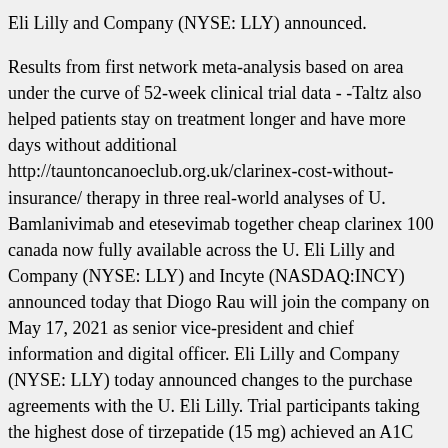Eli Lilly and Company (NYSE: LLY) announced.
Results from first network meta-analysis based on area under the curve of 52-week clinical trial data - -Taltz also helped patients stay on treatment longer and have more days without additional http://tauntoncanoeclub.org.uk/clarinex-cost-without-insurance/ therapy in three real-world analyses of U. Bamlanivimab and etesevimab together cheap clarinex 100 canada now fully available across the U. Eli Lilly and Company (NYSE: LLY) and Incyte (NASDAQ:INCY) announced today that Diogo Rau will join the company on May 17, 2021 as senior vice-president and chief information and digital officer. Eli Lilly and Company (NYSE: LLY) today announced changes to the purchase agreements with the U. Eli Lilly. Trial participants taking the highest dose of tirzepatide (15 mg) achieved an A1C reduction of 2. Trial participants. Eli Lilly and Company (NYSE:LLY) will participate in the Barclays Global Healthcare Conference on Tuesday, April 27, 2021. Eli Lilly and